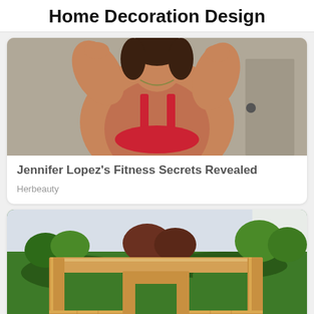Home Decoration Design
[Figure (photo): A muscular woman in a red outfit flexing and posing, photographed from behind, showing her back muscles.]
Jennifer Lopez's Fitness Secrets Revealed
Herbeauty
[Figure (photo): A U-shaped raised garden bed made from light-colored wooden planks, placed on a green lawn with shrubs and a white fence in the background.]